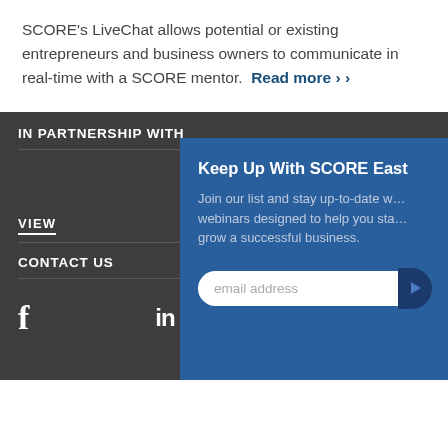SCORE's LiveChat allows potential or existing entrepreneurs and business owners to communicate in real-time with a SCORE mentor. Read more ›
IN PARTNERSHIP WITH
Keep Up With SCORE East
Join our list and stay up-to-date with webinars designed to help you start and grow a successful business.
VIEW
CONTACT US
[Figure (infographic): Social media icons: Facebook (f), LinkedIn (in), YouTube (play button)]